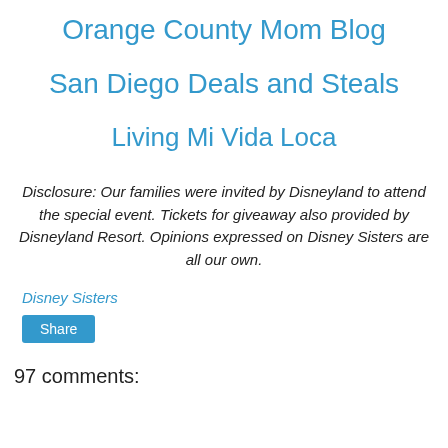Orange County Mom Blog
San Diego Deals and Steals
Living Mi Vida Loca
Disclosure: Our families were invited by Disneyland to attend the special event. Tickets for giveaway also provided by Disneyland Resort. Opinions expressed on Disney Sisters are all our own.
Disney Sisters
Share
97 comments: